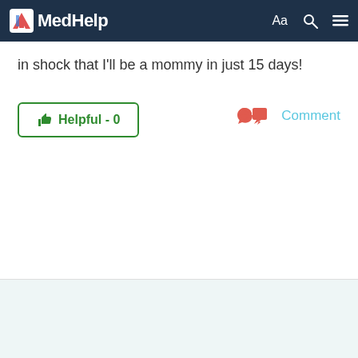MedHelp
in shock that I'll be a mommy in just 15 days!
Helpful - 0
Comment
ADVERTISEMENT